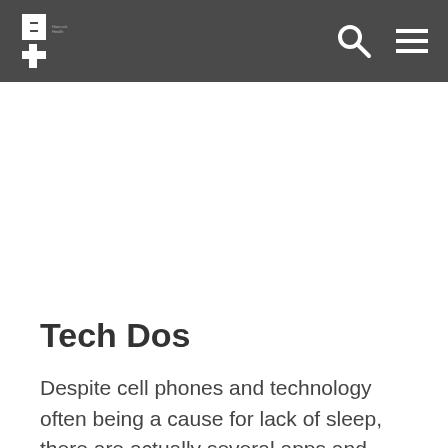Hancock Health
Tech Dos
Despite cell phones and technology often being a cause for lack of sleep, there are actually several apps and other products designed to help you get out of bed! Here are